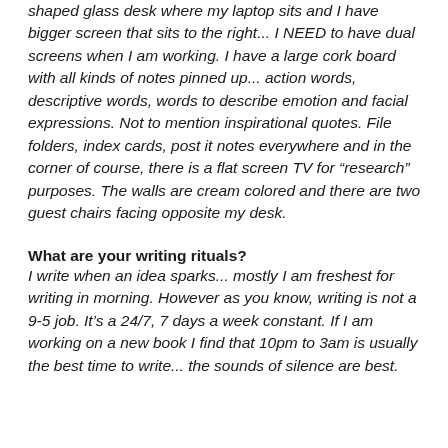shaped glass desk where my laptop sits and I have bigger screen that sits to the right... I NEED to have dual screens when I am working. I have a large cork board with all kinds of notes pinned up... action words, descriptive words, words to describe emotion and facial expressions. Not to mention inspirational quotes. File folders, index cards, post it notes everywhere and in the corner of course, there is a flat screen TV for “research” purposes. The walls are cream colored and there are two guest chairs facing opposite my desk.
What are your writing rituals?
I write when an idea sparks... mostly I am freshest for writing in morning. However as you know, writing is not a 9-5 job. It’s a 24/7, 7 days a week constant. If I am working on a new book I find that 10pm to 3am is usually the best time to write... the sounds of silence are best.